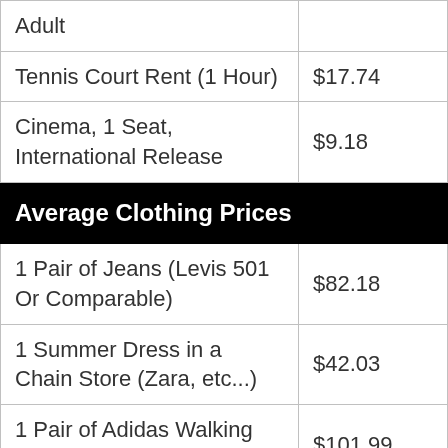| Item | Price |
| --- | --- |
| Adult |  |
| Tennis Court Rent (1 Hour) | $17.74 |
| Cinema, 1 Seat, International Release | $9.18 |
| Average Clothing Prices |  |
| 1 Pair of Jeans (Levis 501 Or Comparable) | $82.18 |
| 1 Summer Dress in a Chain Store (Zara, etc...) | $42.03 |
| 1 Pair of Adidas Walking Shoes (Mid-Range) | $101.99 |
| Average Rent Prices |  |
| Apartment (1 bedroom) in City |  |